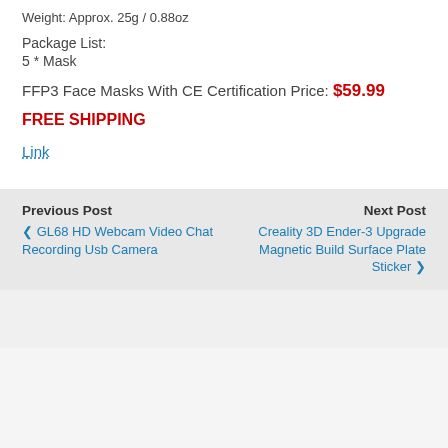Weight: Approx. 25g / 0.88oz
Package List:
5 * Mask
FFP3 Face Masks With CE Certification Price: $59.99
FREE SHIPPING
Link
Previous Post  GL68 HD Webcam Video Chat Recording Usb Camera | Next Post  Creality 3D Ender-3 Upgrade Magnetic Build Surface Plate Sticker